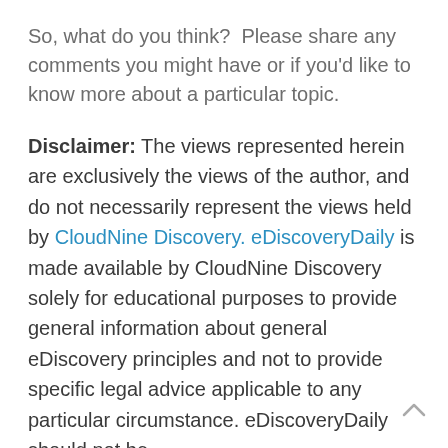So, what do you think?  Please share any comments you might have or if you'd like to know more about a particular topic.
Disclaimer: The views represented herein are exclusively the views of the author, and do not necessarily represent the views held by CloudNine Discovery. eDiscoveryDaily is made available by CloudNine Discovery solely for educational purposes to provide general information about general eDiscovery principles and not to provide specific legal advice applicable to any particular circumstance. eDiscoveryDaily should not be